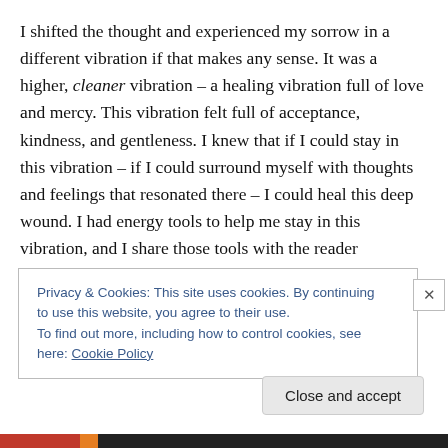I shifted the thought and experienced my sorrow in a different vibration if that makes any sense. It was a higher, cleaner vibration – a healing vibration full of love and mercy. This vibration felt full of acceptance, kindness, and gentleness. I knew that if I could stay in this vibration – if I could surround myself with thoughts and feelings that resonated there – I could heal this deep wound. I had energy tools to help me stay in this vibration, and I share those tools with the reader throughout the book, so they too can stay out of the mire of what-could-have-been.
Privacy & Cookies: This site uses cookies. By continuing to use this website, you agree to their use.
To find out more, including how to control cookies, see here: Cookie Policy
Close and accept